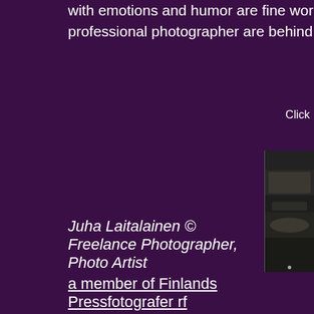with emotions and humor are fine works of art.  My other serv… professional photographer are behind just one click: www.valo…
Click
[Figure (photo): A vertical photo strip showing a partial portrait in a dark/dramatic studio setting]
Juha Laitalainen © Freelance Photographer, Photo Artist
a member of Finlands Pressfotografer rf
Phone and email:
+358-(0)40-5139990
photoworldwide.com@me.com
Postal address and new PortraitStudio:
Aurorankatu 17
00100 Helsinki,  Finland